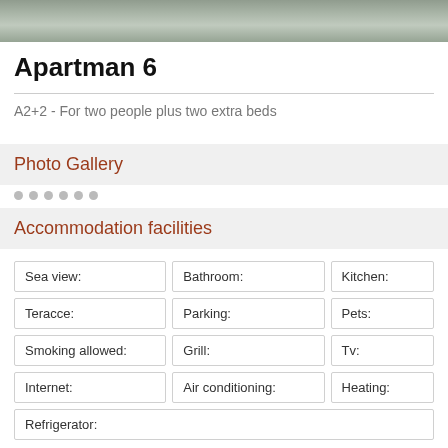[Figure (photo): Partial photo strip at top of page showing water/lake reflection scene]
Apartman 6
A2+2 - For two people plus two extra beds
Photo Gallery
Accommodation facilities
| Sea view: | Bathroom: | Kitchen: |
| --- | --- | --- |
| Teracce: | Parking: | Pets: |
| Smoking allowed: | Grill: | Tv: |
| Internet: | Air conditioning: | Heating: |
| Refrigerator: |  |  |